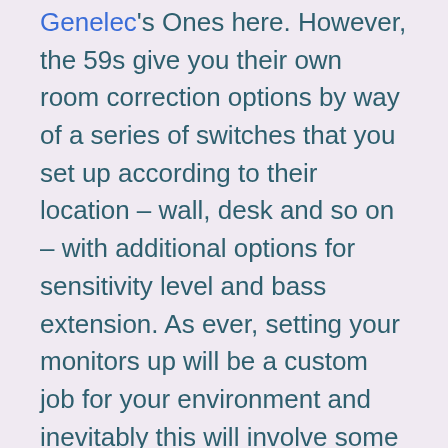Genelec's Ones here. However, the 59s give you their own room correction options by way of a series of switches that you set up according to their location – wall, desk and so on – with additional options for sensitivity level and bass extension. As ever, setting your monitors up will be a custom job for your environment and inevitably this will involve some time spent with mixes that you know well, and results played across a variety of systems for checking.
For this review, we opt for setting everything as neutrally as we can and go for the 'Desk' option under the First Position Room Treatment Filters switch, and the 'Corner' setting for the Second